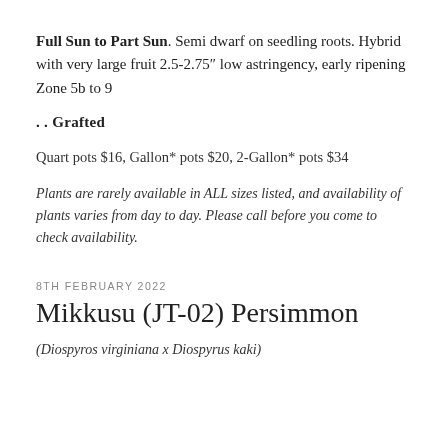Full Sun to Part Sun. Semi dwarf on seedling roots. Hybrid with very large fruit 2.5-2.75" low astringency, early ripening Zone 5b to 9
.. Grafted
Quart pots $16, Gallon* pots $20, 2-Gallon* pots $34
Plants are rarely available in ALL sizes listed, and availability of plants varies from day to day. Please call before you come to check availability.
8TH FEBRUARY 2022
Mikkusu (JT-02) Persimmon
(Diospyros virginiana x Diospyrus kaki)